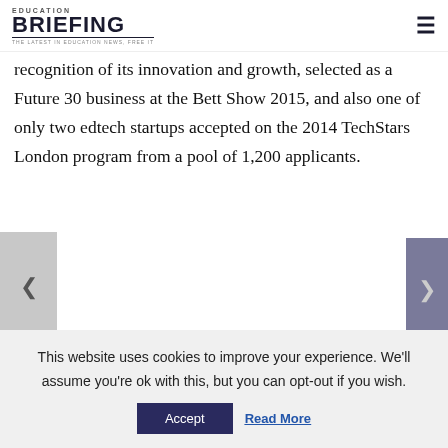EDUCATION BRIEFING — THE LATEST IN EDUCATION NEWS, FREE IT
recognition of its innovation and growth, selected as a Future 30 business at the Bett Show 2015, and also one of only two edtech startups accepted on the 2014 TechStars London program from a pool of 1,200 applicants.
POST TAGS: BETT SHOW, CATS, GCSE, GLASS CEILING, GRADES, QUIZALIZE, SECONDARY SCHOOLS, ZZISH
This website uses cookies to improve your experience. We'll assume you're ok with this, but you can opt-out if you wish. Accept  Read More